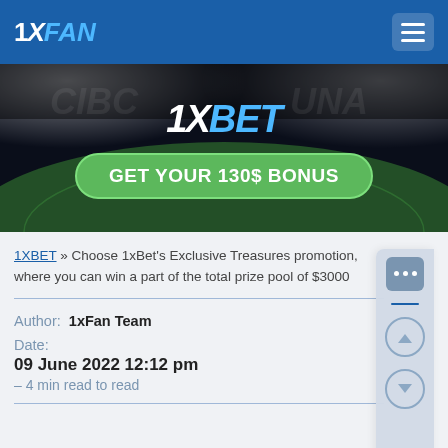1XFAN
[Figure (screenshot): 1XBET banner advertisement with stadium background, '1XBET' logo in white and blue, and green button reading 'GET YOUR 130$ BONUS']
1XBET » Choose 1xBet's Exclusive Treasures promotion, where you can win a part of the total prize pool of $3000
Author: 1xFan Team
Date: 09 June 2022 12:12 pm – 4 min read to read